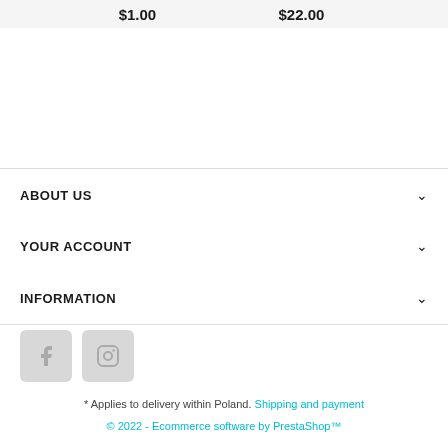| $1.00 | $22.00 |
ABOUT US
YOUR ACCOUNT
INFORMATION
[Figure (other): Social media icons: Facebook and Instagram]
* Applies to delivery within Poland. Shipping and payment
© 2022 - Ecommerce software by PrestaShop™